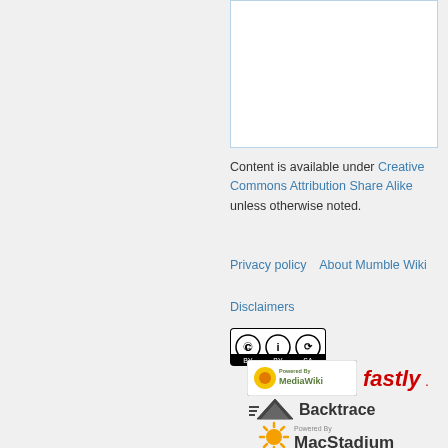[Figure (other): White content box with blue border, partially visible at top right of page]
Content is available under Creative Commons Attribution Share Alike unless otherwise noted.
Privacy policy   About Mumble Wiki
Disclaimers
[Figure (logo): Creative Commons BY-SA badge]
[Figure (logo): Powered by MediaWiki logo and Fastly logo]
[Figure (logo): Backtrace logo]
[Figure (logo): Powered by MacStadium logo]